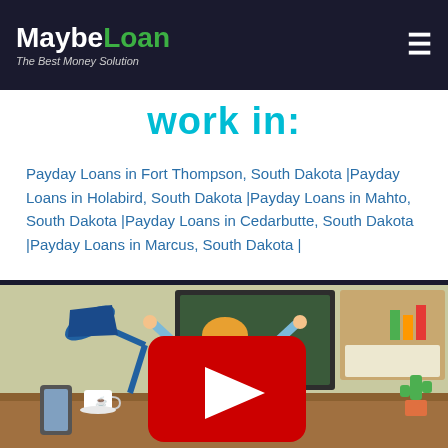MaybeLoan - The Best Money Solution
work in:
Payday Loans in Fort Thompson, South Dakota |Payday Loans in Holabird, South Dakota |Payday Loans in Mahto, South Dakota |Payday Loans in Cedarbutte, South Dakota |Payday Loans in Marcus, South Dakota |
[Figure (screenshot): Animated YouTube video thumbnail showing a cartoon woman with raised arms sitting at a desk with a laptop, desk lamp, coffee cup, phone, and cactus. A red YouTube play button is centered on the image.]